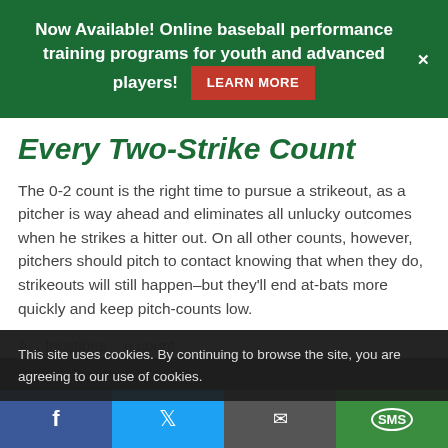Now Available! Online baseball performance training programs for youth and advanced players! LEARN MORE
Every Two-Strike Count
The 0-2 count is the right time to pursue a strikeout, as a pitcher is way ahead and eliminates all unlucky outcomes when he strikes a hitter out. On all other counts, however, pitchers should pitch to contact knowing that when they do, strikeouts will still happen–but they'll end at-bats more quickly and keep pitch-counts low.
A... locations... e count.
This site uses cookies. By continuing to browse the site, you are agreeing to our use of cookies.
Facebook Twitter Email SMS